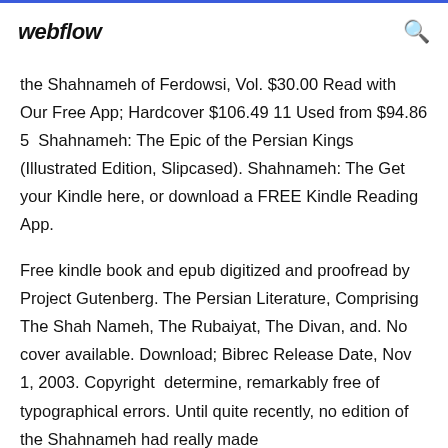webflow
the Shahnameh of Ferdowsi, Vol. $30.00 Read with Our Free App; Hardcover $106.49 11 Used from $94.86 5  Shahnameh: The Epic of the Persian Kings (Illustrated Edition, Slipcased). Shahnameh: The Get your Kindle here, or download a FREE Kindle Reading App.
Free kindle book and epub digitized and proofread by Project Gutenberg. The Persian Literature, Comprising The Shah Nameh, The Rubaiyat, The Divan, and. No cover available. Download; Bibrec Release Date, Nov 1, 2003. Copyright  determine, remarkably free of typographical errors. Until quite recently, no edition of the Shahnameh had really made...